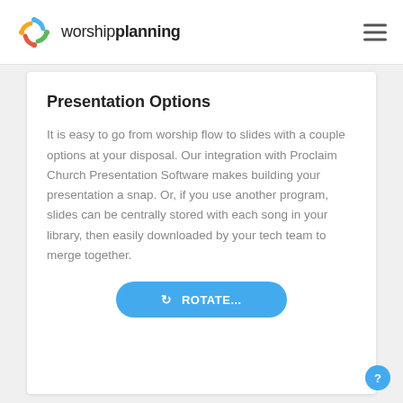worship planning
Presentation Options
It is easy to go from worship flow to slides with a couple options at your disposal. Our integration with Proclaim Church Presentation Software makes building your presentation a snap. Or, if you use another program, slides can be centrally stored with each song in your library, then easily downloaded by your tech team to merge together.
[Figure (other): Blue rounded button labeled ROTATE...]